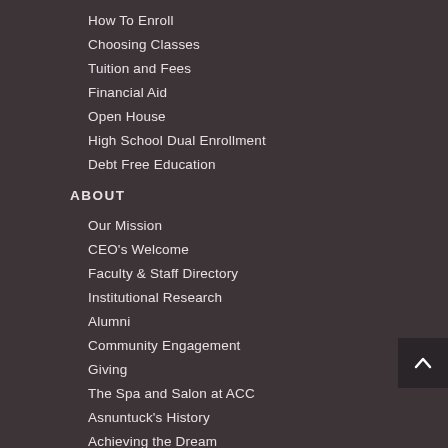How To Enroll
Choosing Classes
Tuition and Fees
Financial Aid
Open House
High School Dual Enrollment
Debt Free Education
ABOUT
Our Mission
CEO's Welcome
Faculty & Staff Directory
Institutional Research
Alumni
Community Engagement
Giving
The Spa and Salon at ACC
Asnuntuck's History
Achieving the Dream
Campus Operations
Employment Opportunities